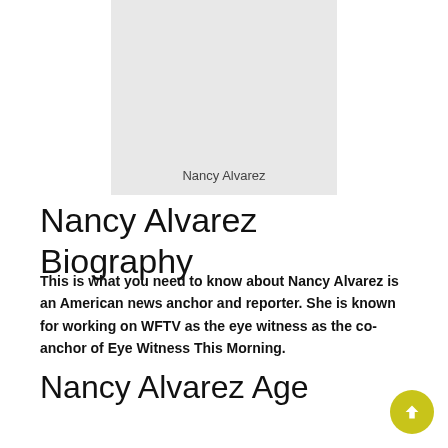[Figure (photo): Photo placeholder of Nancy Alvarez with label text 'Nancy Alvarez' at the bottom]
Nancy Alvarez Biography
This is what you need to know about Nancy Alvarez is an American news anchor and reporter. She is known for working on WFTV as the eye witness as the co-anchor of Eye Witness This Morning.
Nancy Alvarez Age